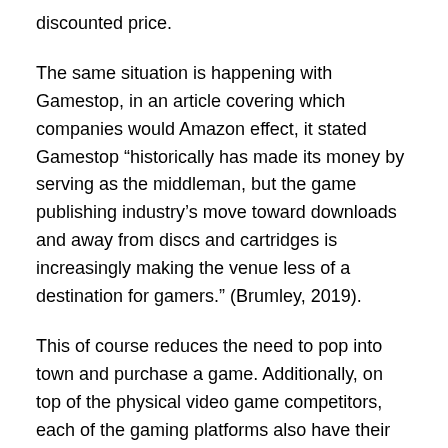discounted price.
The same situation is happening with Gamestop, in an article covering which companies would Amazon effect, it stated Gamestop “historically has made its money by serving as the middleman, but the game publishing industry’s move toward downloads and away from discs and cartridges is increasingly making the venue less of a destination for gamers.” (Brumley, 2019).
This of course reduces the need to pop into town and purchase a game. Additionally, on top of the physical video game competitors, each of the gaming platforms also have their own store integrated into the console where you can purchase digital copies of any game on that platform. Digital games usually have a higher RRP, however, they are usually heavily discounted during sales.